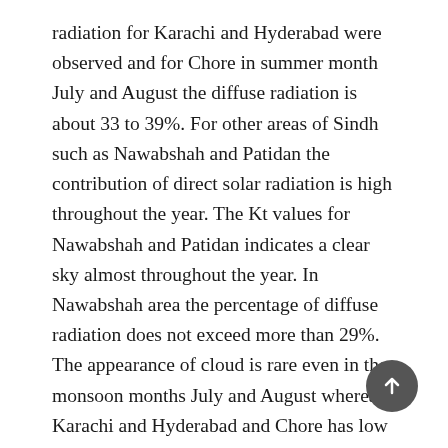radiation for Karachi and Hyderabad were observed and for Chore in summer month July and August the diffuse radiation is about 33 to 39%. For other areas of Sindh such as Nawabshah and Patidan the contribution of direct solar radiation is high throughout the year. The Kt values for Nawabshah and Patidan indicates a clear sky almost throughout the year. In Nawabshah area the percentage of diffuse radiation does not exceed more than 29%. The appearance of cloud is rare even in the monsoon months July and August whereas Karachi and Hyderabad and Chore has low solar potential during the monsoon months. During the monsoon period Karachi and Hyderabad can utilize hybrid system with wind power as wind speed is higher. From the point of view of power generation the estimated values indicate that Karachi and Hyderabad and chore has lower potential for July and August while...